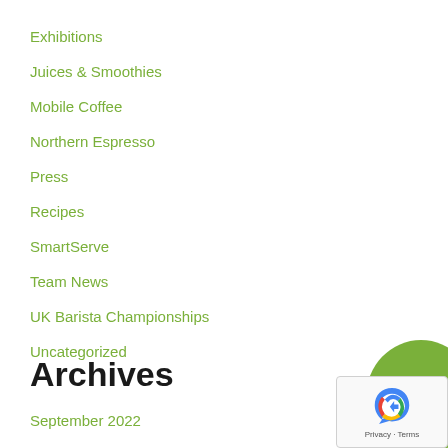Exhibitions
Juices & Smoothies
Mobile Coffee
Northern Espresso
Press
Recipes
SmartServe
Team News
UK Barista Championships
Uncategorized
[Figure (other): Green rounded button with white text reading GET A QUOTE]
Archives
September 2022
[Figure (other): Google reCAPTCHA widget showing recaptcha icon and Privacy - Terms text]